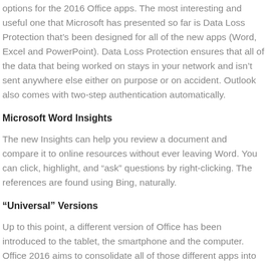options for the 2016 Office apps. The most interesting and useful one that Microsoft has presented so far is Data Loss Protection that’s been designed for all of the new apps (Word, Excel and PowerPoint). Data Loss Protection ensures that all of the data that being worked on stays in your network and isn’t sent anywhere else either on purpose or on accident. Outlook also comes with two-step authentication automatically.
Microsoft Word Insights
The new Insights can help you review a document and compare it to online resources without ever leaving Word. You can click, highlight, and “ask” questions by right-clicking. The references are found using Bing, naturally.
“Universal” Versions
Up to this point, a different version of Office has been introduced to the tablet, the smartphone and the computer. Office 2016 aims to consolidate all of those different apps into